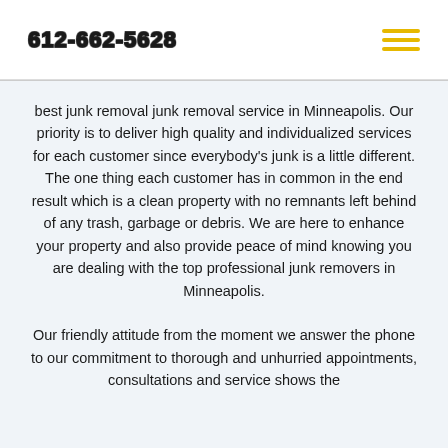612-662-5628
best junk removal junk removal service in Minneapolis. Our priority is to deliver high quality and individualized services for each customer since everybody's junk is a little different. The one thing each customer has in common in the end result which is a clean property with no remnants left behind of any trash, garbage or debris. We are here to enhance your property and also provide peace of mind knowing you are dealing with the top professional junk removers in Minneapolis.
Our friendly attitude from the moment we answer the phone to our commitment to thorough and unhurried appointments, consultations and service shows the